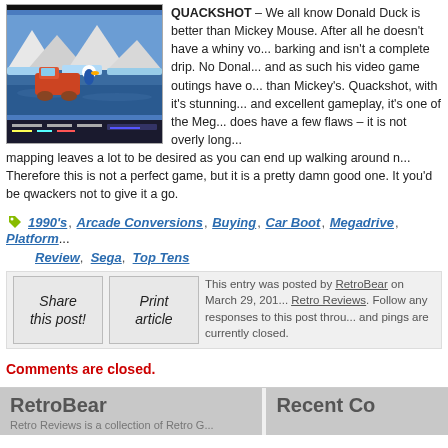[Figure (screenshot): Screenshot of Quackshot video game showing Donald Duck in a side-scrolling platformer with icy/snowy level background and a vehicle]
QUACKSHOT – We all know Donald Duck is better than Mickey Mouse. After all he doesn't have a whiny voice, isn't always barking and isn't a complete drip. No Donald is a duck of action and as such his video game outings have on the whole been better than Mickey's. Quackshot, with it's stunning graphics and sound and excellent gameplay, it's one of the Meg... does have a few flaws – it is not overly long... mapping leaves a lot to be desired as you can end up walking around n... Therefore this is not a perfect game, but it is a pretty damn good one. It... you'd be qwackers not to give it a go.
1990's, Arcade Conversions, Buying, Car Boot, Megadrive, Platform... Review, Sega, Top Tens
This entry was posted by RetroBear on March 29, 2011... Retro Reviews. Follow any responses to this post throu... and pings are currently closed.
Comments are closed.
RetroBear
Recent Co